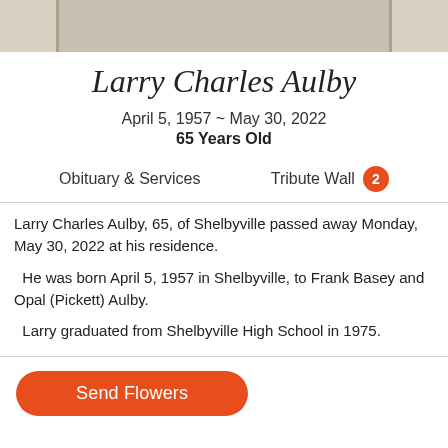[Figure (photo): Top portion of a memorial/obituary photo partially visible at the top of the page]
Larry Charles Aulby
April 5, 1957 ~ May 30, 2022
65 Years Old
Obituary & Services
Tribute Wall 2
Larry Charles Aulby, 65, of Shelbyville passed away Monday, May 30, 2022 at his residence.
He was born April 5, 1957 in Shelbyville, to Frank Basey and Opal (Pickett) Aulby.
Larry graduated from Shelbyville High School in 1975.
Send Flowers